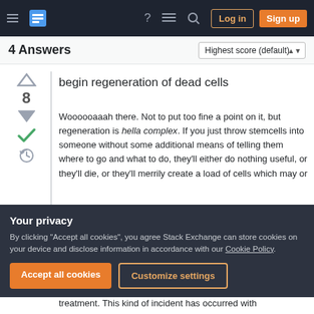Stack Exchange navigation bar with hamburger menu, logo, help, chat, search icons, Log in and Sign up buttons
4 Answers
Highest score (default)
begin regeneration of dead cells
Woooooaaah there. Not to put too fine a point on it, but regeneration is hella complex. If you just throw stemcells into someone without some additional means of telling them where to go and what to do, they'll either do nothing useful, or they'll die, or they'll merrily create a load of cells which may or
Your privacy
By clicking "Accept all cookies", you agree Stack Exchange can store cookies on your device and disclose information in accordance with our Cookie Policy.
Accept all cookies
Customize settings
treatment. This kind of incident has occurred with